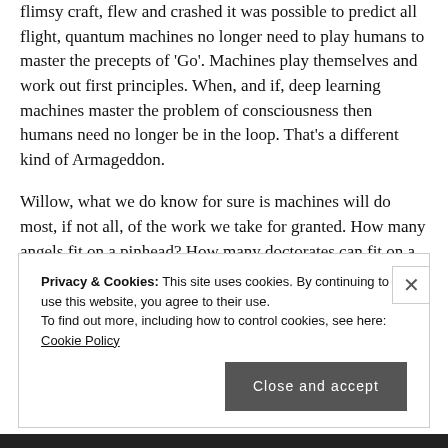flimsy craft, flew and crashed it was possible to predict all flight, quantum machines no longer need to play humans to master the precepts of 'Go'. Machines play themselves and work out first principles. When, and if, deep learning machines master the problem of consciousness then humans need no longer be in the loop. That's a different kind of Armageddon.
Willow, what we do know for sure is machines will do most, if not all, of the work we take for granted. How many angels fit on a pinhead? How many doctorates can fit on a subatomic particle? Masters of pattern recognition predict the future and make it happen. Energy usage will
Privacy & Cookies: This site uses cookies. By continuing to use this website, you agree to their use. To find out more, including how to control cookies, see here: Cookie Policy
Close and accept